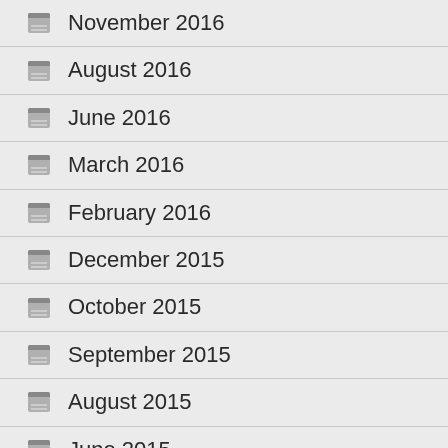November 2016
August 2016
June 2016
March 2016
February 2016
December 2015
October 2015
September 2015
August 2015
June 2015